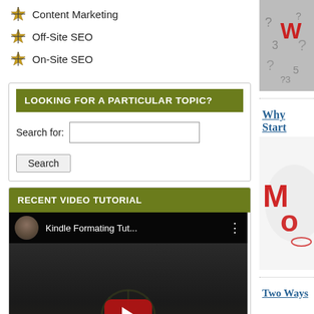Content Marketing
Off-Site SEO
On-Site SEO
LOOKING FOR A PARTICULAR TOPIC?
Search for:
RECENT VIDEO TUTORIAL
[Figure (screenshot): YouTube video embed titled 'Kindle Formating Tut...' with a play button overlay on a dark background showing a logo and presentation slide content]
[Figure (photo): Image with www text and question marks on grey background]
Why Start
[Figure (photo): Red 3D letters M O on white background]
Two Ways